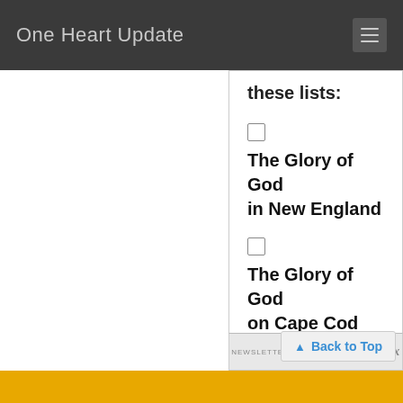One Heart Update
these lists:
The Glory of God in New England
The Glory of God on Cape Cod
Sign Up
NEWSLETTER MANAGED BY blastbox
Back to Top